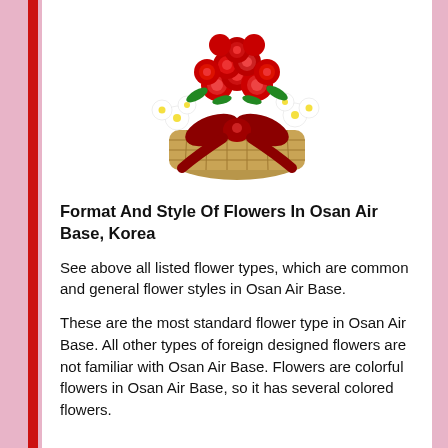[Figure (photo): A wicker basket arrangement of red roses and white daisies with a large dark red ribbon bow at the front.]
Format And Style Of Flowers In Osan Air Base, Korea
See above all listed flower types, which are common and general flower styles in Osan Air Base.
These are the most standard flower type in Osan Air Base. All other types of foreign designed flowers are not familiar with Osan Air Base. Flowers are colorful flowers in Osan Air Base, so it has several colored flowers.